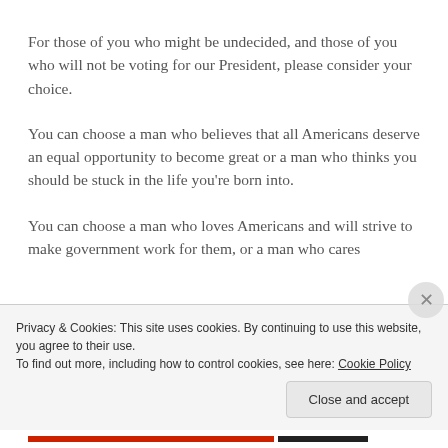For those of you who might be undecided, and those of you who will not be voting for our President, please consider your choice.
You can choose a man who believes that all Americans deserve an equal opportunity to become great or a man who thinks you should be stuck in the life you're born into.
You can choose a man who loves Americans and will strive to make government work for them, or a man who cares
Privacy & Cookies: This site uses cookies. By continuing to use this website, you agree to their use.
To find out more, including how to control cookies, see here: Cookie Policy